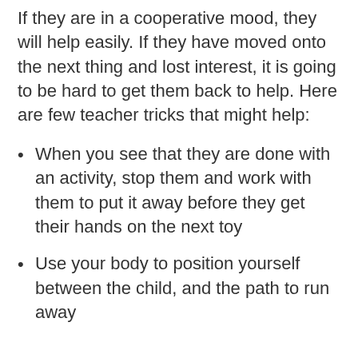If they are in a cooperative mood, they will help easily. If they have moved onto the next thing and lost interest, it is going to be hard to get them back to help. Here are few teacher tricks that might help:
When you see that they are done with an activity, stop them and work with them to put it away before they get their hands on the next toy
Use your body to position yourself between the child, and the path to run away